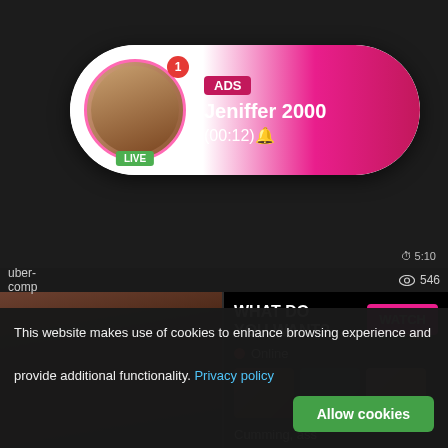[Figure (screenshot): Adult video website screenshot with advertisement overlay showing a profile notification for 'Jeniffer 2000' with LIVE badge and timestamp (00:12), pink gradient bubble UI element]
ADS
Jeniffer 2000
(00:12)🔔
uber-
comp
5:10
546
WHAT DO YOU WANT?
WATCH
Online
Cumming, ass fucking, squirt or...
• ADS
Flirt4Free
Live Sexy Models 🔔
She will make the first move
spunked face
babe, Janice
10:01
This website makes use of cookies to enhance browsing experience and provide additional functionality. Privacy policy
Allow cookies